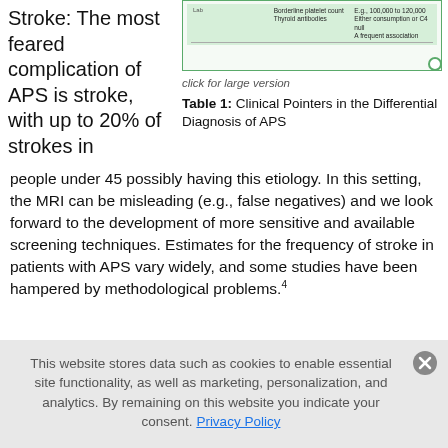Stroke: The most feared complication of APS is stroke, with up to 20% of strokes in
[Figure (table-as-image): Partial view of Table 1 showing rows with columns including 'Borderline platelet count', 'Thyroid antibodies', 'E.g., 100,000 to 120,000', 'Either consumption or C4 null', 'A frequent association']
click for large version
Table 1: Clinical Pointers in the Differential Diagnosis of APS
people under 45 possibly having this etiology. In this setting, the MRI can be misleading (e.g., false negatives) and we look forward to the development of more sensitive and available screening techniques. Estimates for the frequency of stroke in patients with APS vary widely, and some studies have been hampered by methodological problems.4
This website stores data such as cookies to enable essential site functionality, as well as marketing, personalization, and analytics. By remaining on this website you indicate your consent. Privacy Policy